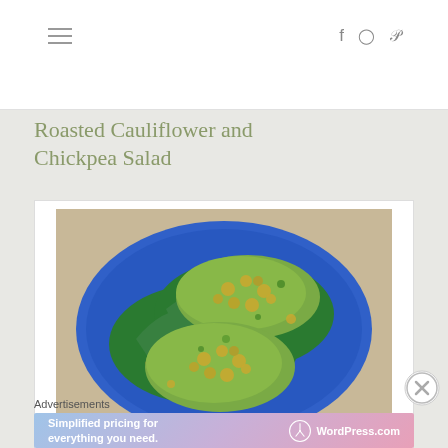≡  f  ⊙  𝒫
Roasted Cauliflower and Chickpea Salad
[Figure (photo): A blue plate holding two servings of roasted cauliflower and chickpea salad on a bed of green spinach leaves and shredded carrots, topped with a green herb mixture]
[Figure (logo): Close (X) button circle icon]
Advertisements
[Figure (screenshot): WordPress.com advertisement banner with gradient background reading 'Simplified pricing for everything you need.' with WordPress.com logo]